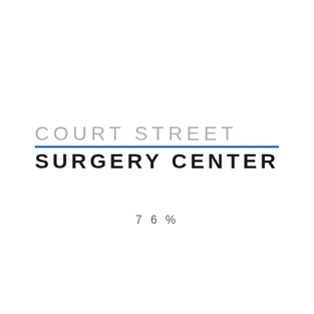[Figure (logo): Court Street Surgery Center logo with gray uppercase 'COURT STREET' text on top, a blue horizontal rule beneath it, and bold black uppercase 'SURGERY CENTER' text below]
76%